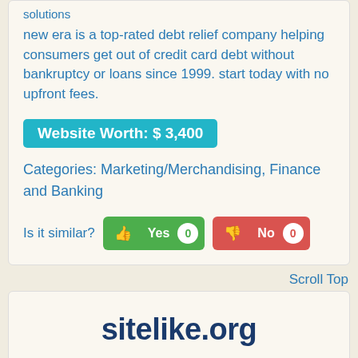solutions
new era is a top-rated debt relief company helping consumers get out of credit card debt without bankruptcy or loans since 1999. start today with no upfront fees.
Website Worth: $ 3,400
Categories: Marketing/Merchandising, Finance and Banking
Is it similar? Yes 0 No 0
Scroll Top
sitelike.org
Image coming soon